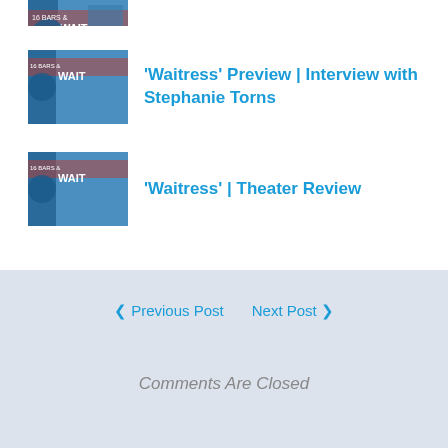[Figure (photo): Partial thumbnail image of Waitress musical promotional material, cropped at top]
'Waitress' Preview | Interview with Stephanie Torns
'Waitress' | Theater Review
‹ Previous Post   Next Post ›
Comments Are Closed
Content copyright CleveRock Music Portal.